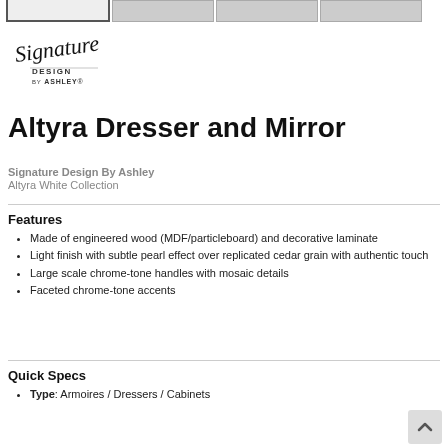[Figure (other): Four product thumbnail images at the top of the page, first one selected/highlighted]
[Figure (logo): Signature Design by Ashley cursive logo]
Altyra Dresser and Mirror
Signature Design By Ashley
Altyra White Collection
Features
Made of engineered wood (MDF/particleboard) and decorative laminate
Light finish with subtle pearl effect over replicated cedar grain with authentic touch
Large scale chrome-tone handles with mosaic details
Faceted chrome-tone accents
Quick Specs
Type: Armoires / Dressers / Cabinets